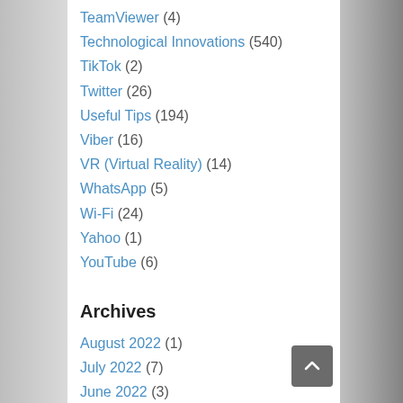TeamViewer (4)
Technological Innovations (540)
TikTok (2)
Twitter (26)
Useful Tips (194)
Viber (16)
VR (Virtual Reality) (14)
WhatsApp (5)
Wi-Fi (24)
Yahoo (1)
YouTube (6)
Archives
August 2022 (1)
July 2022 (7)
June 2022 (3)
May 2022 (3)
April 2022 (4)
March 2022 (4)
February 2022 (4)